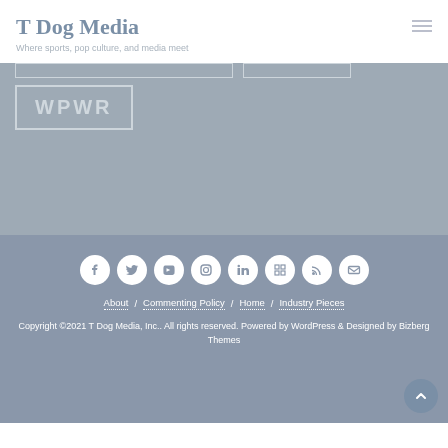T Dog Media
Where sports, pop culture, and media meet
[Figure (screenshot): Gray content area with two input field outlines at top and a bordered WPWR tag box below]
About / Commenting Policy / Home / Industry Pieces
Copyright ©2021 T Dog Media, Inc.. All rights reserved. Powered by WordPress & Designed by Bizberg Themes